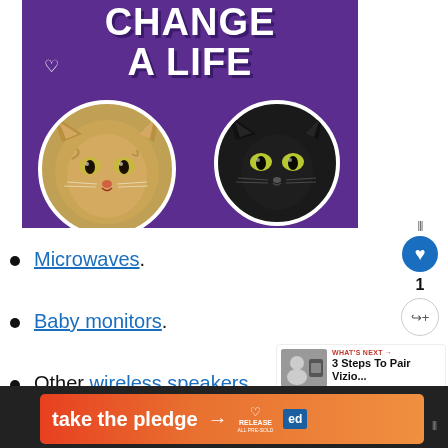[Figure (illustration): Purple promotional poster with large bold white text reading 'CHANGE A LIFE' with a small heart icon, and two circular cat portraits — a tabby cat on the left and a black cat on the right — with white borders on a purple background.]
Microwaves.
Baby monitors.
Other wireless speakers.
[Figure (screenshot): What's Next sidebar box showing a thumbnail image of a person and a TV/speaker device, with red label 'WHAT'S NEXT →' and title '3 Steps To Pair Vizio...']
[Figure (infographic): Orange-to-red gradient banner at bottom reading 'take the pledge →' with RELEASE logo (heart icon and text) and an Ed logo box]